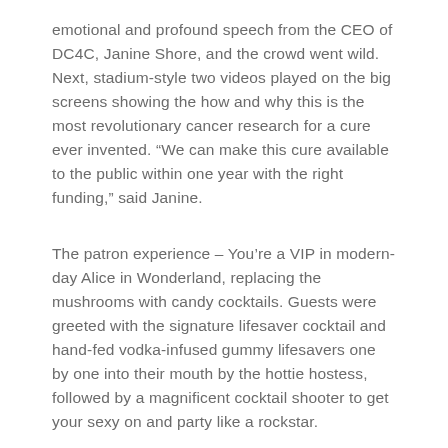emotional and profound speech from the CEO of DC4C, Janine Shore, and the crowd went wild. Next, stadium-style two videos played on the big screens showing the how and why this is the most revolutionary cancer research for a cure ever invented. “We can make this cure available to the public within one year with the right funding,” said Janine.
The patron experience – You’re a VIP in modern-day Alice in Wonderland, replacing the mushrooms with candy cocktails. Guests were greeted with the signature lifesaver cocktail and hand-fed vodka-infused gummy lifesavers one by one into their mouth by the hottie hostess, followed by a magnificent cocktail shooter to get your sexy on and party like a rockstar.